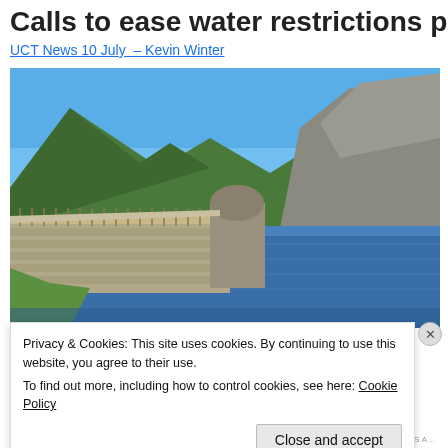Calls to ease water restrictions pre…
UCT News 10 July – Kevin Winter
[Figure (photo): A reservoir dam with a stone bridge/wall in the foreground, blue water behind it, green mountain slopes and rocky hillside in the background under a clear blue sky.]
Privacy & Cookies: This site uses cookies. By continuing to use this website, you agree to their use.
To find out more, including how to control cookies, see here: Cookie Policy
Close and accept